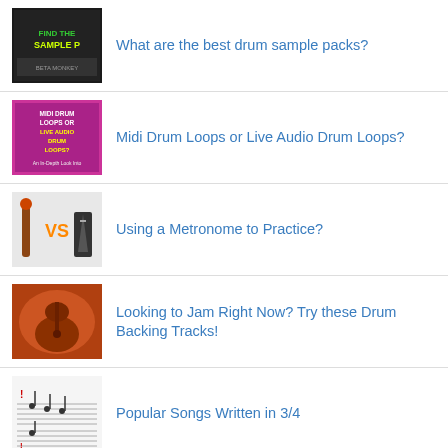What are the best drum sample packs?
Midi Drum Loops or Live Audio Drum Loops?
Using a Metronome to Practice?
Looking to Jam Right Now? Try these Drum Backing Tracks!
Popular Songs Written in 3/4
Beta Monkey User Profile: Simon Reich
Converting Audio Drum Loops to MIDI